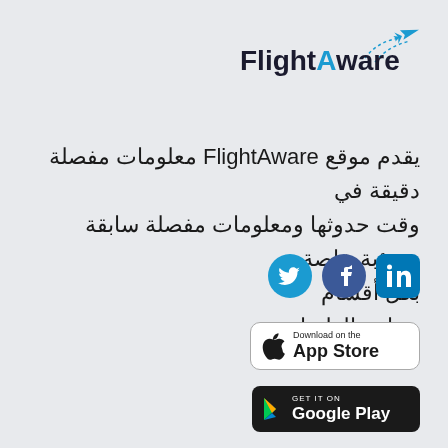[Figure (logo): FlightAware logo with airplane icon and brand name]
يقدم موقع FlightAware معلومات مفصلة دقيقة في وقت حدوثها ومعلومات مفصلة سابقة وتبنؤبة خاصة بكل أقسام صناعة الطيران.
[Figure (illustration): Social media icons: Twitter, Facebook, LinkedIn]
[Figure (illustration): Download on the App Store badge]
[Figure (illustration): Get it on Google Play badge]